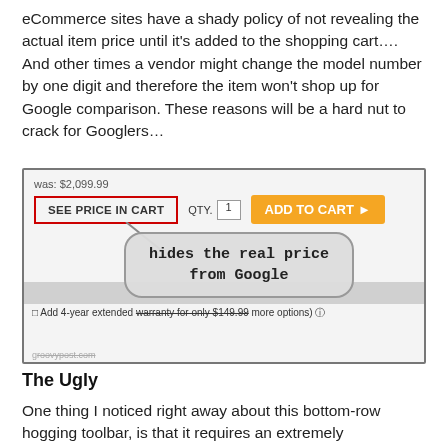eCommerce sites have a shady policy of not revealing the actual item price until it's added to the shopping cart…. And other times a vendor might change the model number by one digit and therefore the item won't shop up for Google comparison. These reasons will be a hard nut to crack for Googlers…
[Figure (screenshot): Screenshot of an eCommerce product page showing 'was: $2,099.99', a 'SEE PRICE IN CART' button outlined in red, QTY field with 1, and an orange 'ADD TO CART' button. A callout bubble with rounded corners reads 'hides the real price from Google'. Below is a warranty checkbox row and a groovypost.com watermark.]
The Ugly
One thing I noticed right away about this bottom-row hogging toolbar, is that it requires an extremely